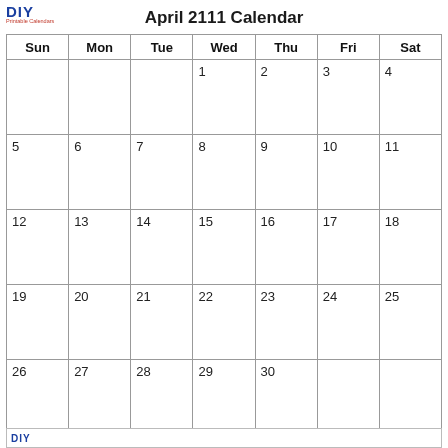April 2111 Calendar
| Sun | Mon | Tue | Wed | Thu | Fri | Sat |
| --- | --- | --- | --- | --- | --- | --- |
|  |  |  | 1 | 2 | 3 | 4 |
| 5 | 6 | 7 | 8 | 9 | 10 | 11 |
| 12 | 13 | 14 | 15 | 16 | 17 | 18 |
| 19 | 20 | 21 | 22 | 23 | 24 | 25 |
| 26 | 27 | 28 | 29 | 30 |  |  |